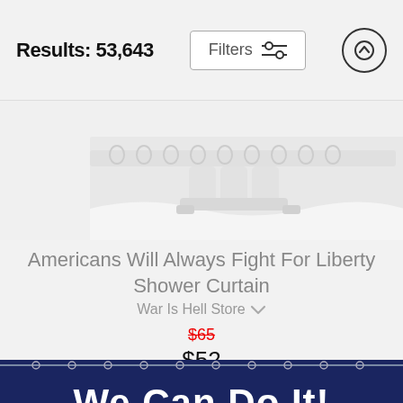Results: 53,643
Filters
[Figure (photo): Top portion of a white shower curtain product image on a gray background]
Americans Will Always Fight For Liberty Shower Curtain
War Is Hell Store
$65 (strikethrough) $52
[Figure (photo): Bottom portion of a navy blue shower curtain with We Can Do It! Rosie the Riveter design, showing upper part of the curtain with the text We Can Do It! and the figure's arm/face]